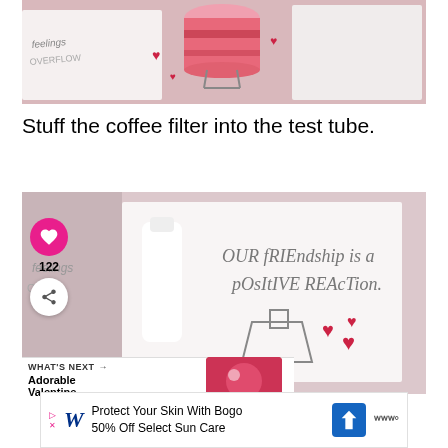[Figure (photo): Photo showing a pink/red drink in a glass test tube with heart decorations and white cards in the background.]
Stuff the coffee filter into the test tube.
[Figure (photo): Photo of Valentine's Day craft showing a card reading 'Our friendship is a positive reaction.' with red heart decorations and a flask illustration. Social media UI overlay with like button showing 122 and a share button is visible.]
WHAT'S NEXT → Adorable Valentine...
Protect Your Skin With Bogo 50% Off Select Sun Care